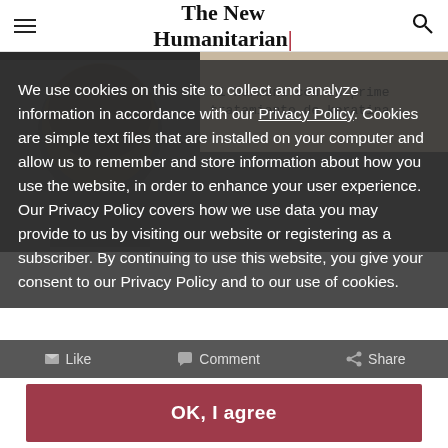The New Humanitarian
[Figure (photo): Screenshot of a website page showing a person's head in profile on the left and a Spanish text overlay on the right reading 'mi hermana con su prime tratamiento de keratina']
We use cookies on this site to collect and analyze information in accordance with our Privacy Policy. Cookies are simple text files that are installed on your computer and allow us to remember and store information about how you use the website, in order to enhance your user experience. Our Privacy Policy covers how we use data you may provide to us by visiting our website or registering as a subscriber. By continuing to use this website, you give your consent to our Privacy Policy and to our use of cookies.
Like   Comment   Share
OK, I agree